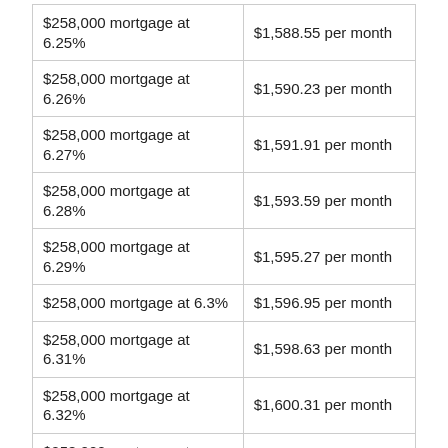| $258,000 mortgage at 6.25% | $1,588.55 per month |
| $258,000 mortgage at 6.26% | $1,590.23 per month |
| $258,000 mortgage at 6.27% | $1,591.91 per month |
| $258,000 mortgage at 6.28% | $1,593.59 per month |
| $258,000 mortgage at 6.29% | $1,595.27 per month |
| $258,000 mortgage at 6.3% | $1,596.95 per month |
| $258,000 mortgage at 6.31% | $1,598.63 per month |
| $258,000 mortgage at 6.32% | $1,600.31 per month |
| $258,000 mortgage at 6.33% | $1,602.00 per month |
| $258,000 mortgage at 6.34% | $1,603.68 per month |